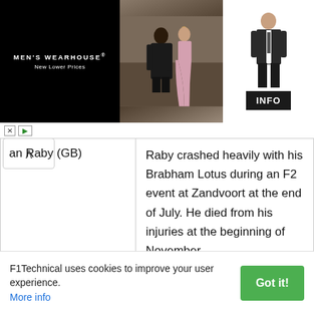[Figure (photo): Men's Wearhouse advertisement banner showing a couple in formal wear and a man in a suit, with INFO button]
| Year / Driver | Description |
| --- | --- |
| an Raby (GB) | Raby crashed heavily with his Brabham Lotus during an F2 event at Zandvoort at the end of July. He died from his injuries at the beginning of November. |
| 1968 Jim Clark (GB) | Jim Clark, recognised by many as one of the best drivers F1 has ever seen, died tragically in a Formula Two race for |
F1Technical uses cookies to improve your user experience. More info